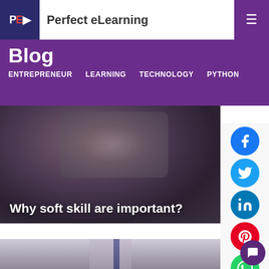Perfect eLearning
Blog
ENTREPRENEUR   LEARNING   TECHNOLOGY   PYTHON
[Figure (photo): Blurred dark background photo of a person in dark clothing, used as hero banner for article 'Why soft skill are important?']
Why soft skill are important?
[Figure (photo): Bottom photo showing a person in suit and tie, partially visible]